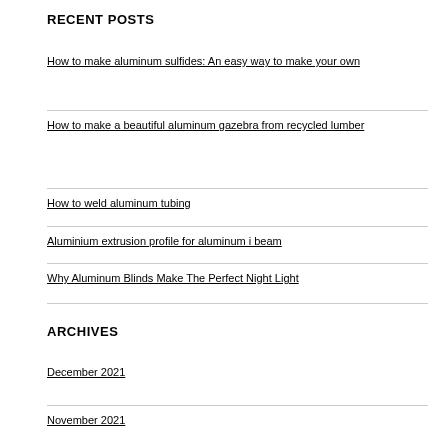RECENT POSTS
How to make aluminum sulfides: An easy way to make your own
How to make a beautiful aluminum gazebra from recycled lumber
How to weld aluminum tubing
Aluminium extrusion profile for aluminum i beam
Why Aluminum Blinds Make The Perfect Night Light
ARCHIVES
December 2021
November 2021